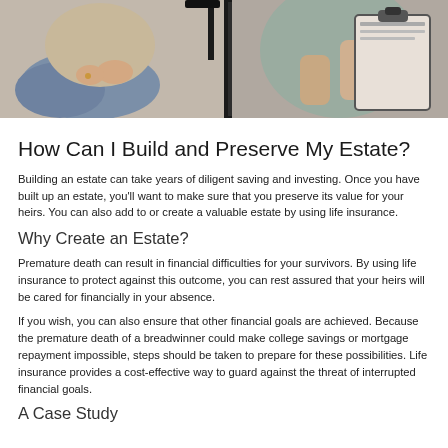[Figure (photo): Two people sitting across from each other in a consultation setting, one holding a clipboard or document]
How Can I Build and Preserve My Estate?
Building an estate can take years of diligent saving and investing. Once you have built up an estate, you'll want to make sure that you preserve its value for your heirs. You can also add to or create a valuable estate by using life insurance.
Why Create an Estate?
Premature death can result in financial difficulties for your survivors. By using life insurance to protect against this outcome, you can rest assured that your heirs will be cared for financially in your absence.
If you wish, you can also ensure that other financial goals are achieved. Because the premature death of a breadwinner could make college savings or mortgage repayment impossible, steps should be taken to prepare for these possibilities. Life insurance provides a cost-effective way to guard against the threat of interrupted financial goals.
A Case Study